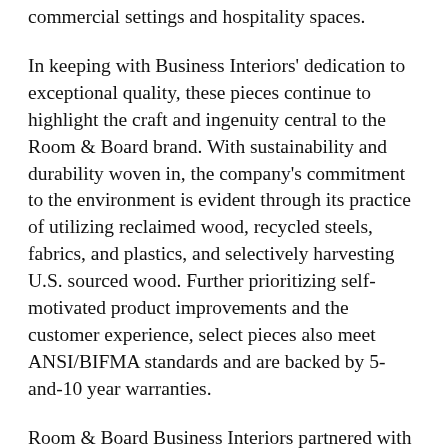commercial settings and hospitality spaces.
In keeping with Business Interiors' dedication to exceptional quality, these pieces continue to highlight the craft and ingenuity central to the Room & Board brand. With sustainability and durability woven in, the company's commitment to the environment is evident through its practice of utilizing reclaimed wood, recycled steels, fabrics, and plastics, and selectively harvesting U.S. sourced wood. Further prioritizing self-motivated product improvements and the customer experience, select pieces also meet ANSI/BIFMA standards and are backed by 5-and-10 year warranties.
Room & Board Business Interiors partnered with True Residential to design Amherst, a new, artisan-crafted storage cabinet. Perfect for hotels and entertaining spaces, Amherst is an